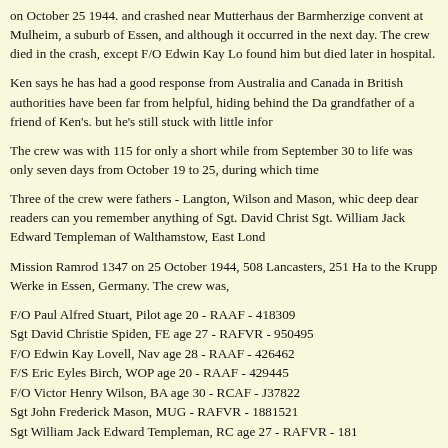on October 25 1944. and crashed near Mutterhaus der Barmherzige convent at Mulheim, a suburb of Essen, and although it occurred in the next day. The crew died in the crash, except F/O Edwin Kay Lo found him but died later in hospital.
Ken says he has had a good response from Australia and Canada in British authorities have been far from helpful, hiding behind the Da grandfather of a friend of Ken's. but he's still stuck with little infor
The crew was with 115 for only a short while from September 30 to life was only seven days from October 19 to 25, during which time
Three of the crew were fathers - Langton, Wilson and Mason, whic deep dear readers can you remember anything of Sgt. David Christ Sgt. William Jack Edward Templeman of Walthamstow, East Lond
Mission Ramrod 1347 on 25 October 1944, 508 Lancasters, 251 Ha to the Krupp Werke in Essen, Germany. The crew was,
F/O Paul Alfred Stuart, Pilot age 20 - RAAF - 418309
Sgt David Christie Spiden, FE age 27 - RAFVR - 950495
F/O Edwin Kay Lovell, Nav age 28 - RAAF - 426462
F/S Eric Eyles Birch, WOP age 20 - RAAF - 429445
F/O Victor Henry Wilson, BA age 30 - RCAF - J37822
Sgt John Frederick Mason, MUG - RAFVR - 1881521
Sgt William Jack Edward Templeman, RC age 27 - RAFVR - 181